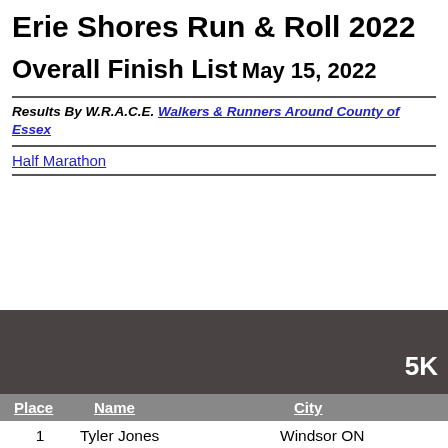Erie Shores Run & Roll 2022
Overall Finish List
May 15, 2022
Results By W.R.A.C.E. Walkers & Runners Around County of Essex
Half Marathon
| Place | Name | City |
| --- | --- | --- |
| 1 | Tyler Jones | Windsor ON |
| 2 | Matt Lafleur | Kingsville ON |